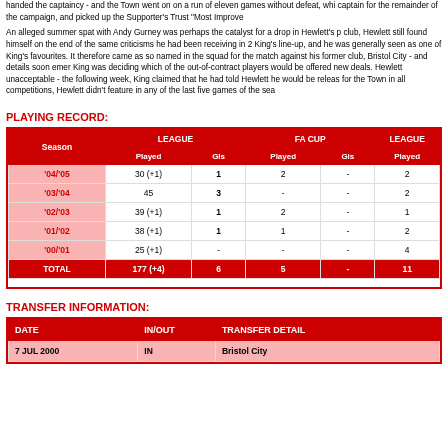handed the captaincy - and the Town went on on a run of eleven games without defeat, whi captain for the remainder of the campaign, and picked up the Supporter's Trust "Most Improve
An alleged summer spat with Andy Gurney was perhaps the catalyst for a drop in Hewlett's p club, Hewlett still found himself on the end of the same criticisms he had been receiving in 2 King's line-up, and he was generally seen as one of King's favourites. It therefore came as so named in the squad for the match against his former club, Bristol City - and details soon emer King was deciding which of the out-of-contract players would be offered new deals. Hewlett unacceptable - the following week, King claimed that he had told Hewlett he would be releas for the Town in all competitions, Hewlett didn't feature in any of the last five games of the sea
PLAYING RECORD:
| Season | LEAGUE Played | LEAGUE Gls | FA CUP Played | FA CUP Gls | LEAGUE Played |
| --- | --- | --- | --- | --- | --- |
| '04/'05 | 30 (+1) | 1 | 2 | - | 2 |
| '03/'04 | 45 | 3 | - | - | 2 |
| '02/'03 | 39 (+1) | 1 | 2 | - | 1 |
| '01/'02 | 38 (+1) | 1 | 1 | - | 2 |
| '00/'01 | 25 (+1) | - | - | - | 4 |
| TOTAL | 177 (+4) | 6 | 5 | - | 11 |
TRANSFER INFORMATION:
| DATE | IN/OUT | TRANSFER DETAIL |
| --- | --- | --- |
| 7 JUL 2000 | IN | Bristol City |